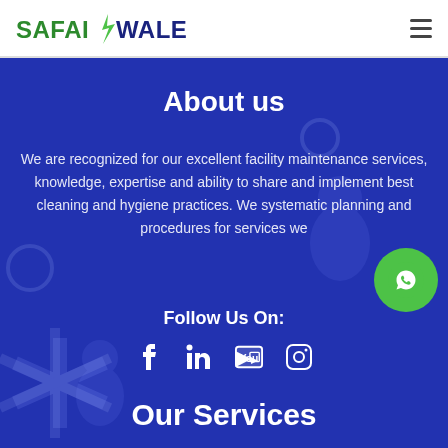SAFAIWALE
About us
We are recognized for our excellent facility maintenance services, knowledge, expertise and ability to share and implement best cleaning and hygiene practices. We systematic planning and procedures for services we
Follow Us On:
[Figure (infographic): Social media icons: Facebook, LinkedIn, YouTube, Instagram]
Our Services